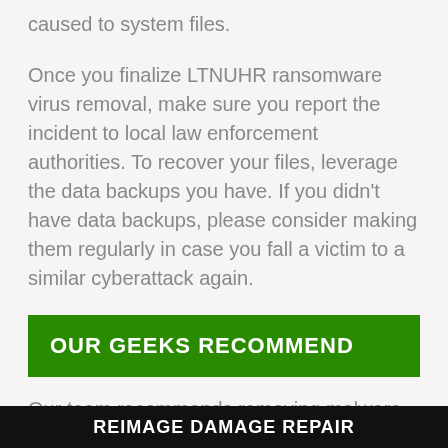caused to system files.
Once you finalize LTNUHR ransomware virus removal, make sure you report the incident to local law enforcement authorities. To recover your files, leverage the data backups you have. If you didn't have data backups, please consider making them regularly in case you fall a victim to a similar cyberattack again.
OUR GEEKS RECOMMEND
Our team recommends removing malware using a professional antivirus software and then using the following tool to repair virus damage to Windows system files: